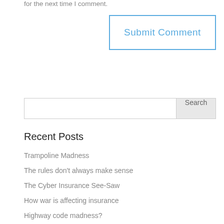for the next time I comment.
Submit Comment
Search
Recent Posts
Trampoline Madness
The rules don't always make sense
The Cyber Insurance See-Saw
How war is affecting insurance
Highway code madness?